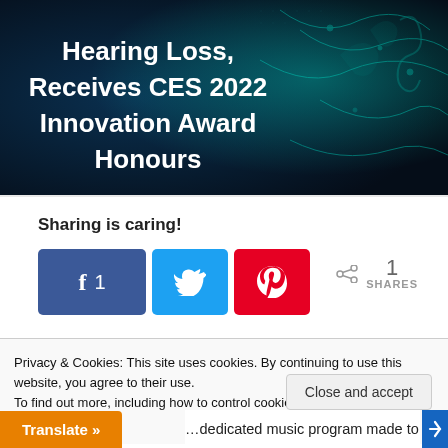[Figure (illustration): Hero banner with dark teal/blue background featuring musical notes and circuit-like glowing patterns. White bold text reads 'Hearing Loss, Receives CES 2022 Innovation Award Honours']
Sharing is caring!
[Figure (infographic): Social share buttons: Facebook button (blue, with 'f' and count '1'), Twitter button (light blue, bird icon), Pinterest button (red, 'p' pin icon). Share count showing '1 SHARES']
Award nod marks the sixth straight year of CES recognition for Oticon
Privacy & Cookies: This site uses cookies. By continuing to use this website, you agree to their use.
To find out more, including how to control cookies, see here: Cookie Policy
Close and accept
Translate »
dedicated music program made to